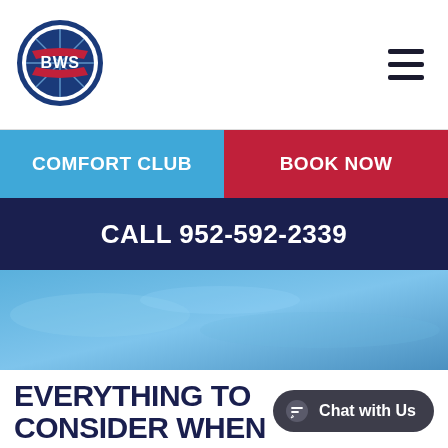[Figure (logo): BWS Plumbing Heating and Air Conditioning circular logo with red ribbon banners]
COMFORT CLUB   BOOK NOW
CALL 952-592-2339
[Figure (photo): Blue sky/cloud textured hero background image]
EVERYTHING TO CONSIDER WHEN CHOOSING A RESIDENTIAL
Chat with Us